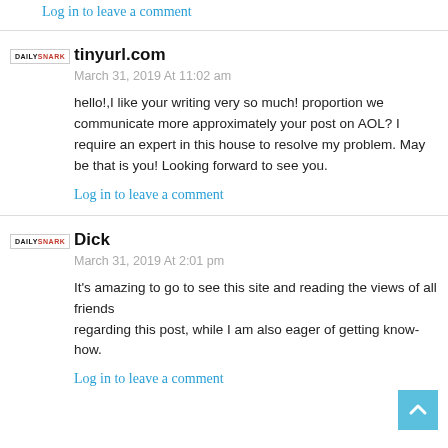Log in to leave a comment
tinyurl.com
March 31, 2019 At 11:02 am
hello!,I like your writing very so much! proportion we communicate more approximately your post on AOL? I require an expert in this house to resolve my problem. May be that is you! Looking forward to see you.
Log in to leave a comment
Dick
March 31, 2019 At 2:01 pm
It's amazing to go to see this site and reading the views of all friends regarding this post, while I am also eager of getting know-how.
Log in to leave a comment